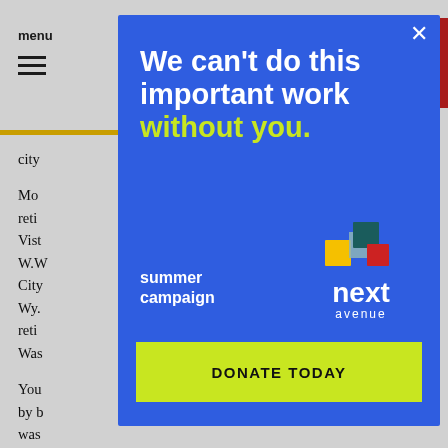menu
city
Mo
reti
Vist
W.W
City
Wy.
reti
Was
You
by b
was
Topretirements.com asks its readers to name
[Figure (screenshot): Modal dialog overlay on a news article page. Blue background modal with white bold text reading 'We can’t do this important work without you.' ('without you.' in yellow-green). Below is 'summer campaign' text in white bold, Next Avenue logo with colorful squares, and a yellow-green 'DONATE TODAY' button. A close (X) button appears top right of the modal.]